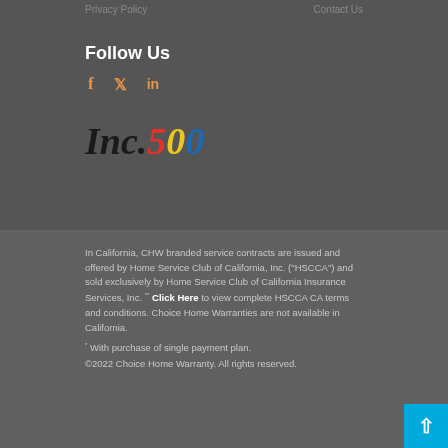Privacy Policy | Contact Us
Follow Us
[Figure (illustration): Social media icons for Facebook (f), Twitter (bird), and LinkedIn (in) in orange]
[Figure (logo): Inc. 500 logo — Inc. in black italic serif, 5 in red, 0 in yellow, 0 in blue]
In California, CHW branded service contracts are issued and offered by Home Service Club of California, Inc. ("HSCCA") and sold exclusively by Home Service Club of California Insurance Services, Inc. ** Click Here to view complete HSCCA CA terms and conditions. Choice Home Warranties are not available in California.
* With purchase of single payment plan.
©2022 Choice Home Warranty. All rights reserved.